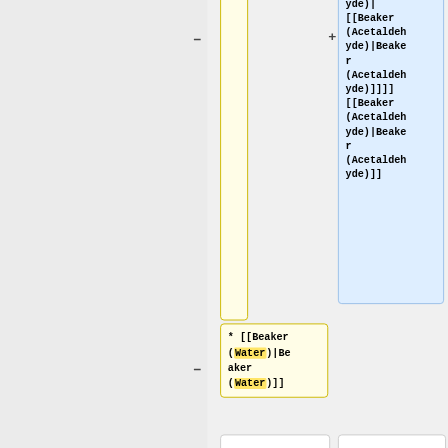[Figure (flowchart): A flowchart diagram showing chemical compound nodes connected by lines. Top-right blue box contains wiki-style links for [[Beaker(Acetaldehyde)|Beaker(Acetaldehyde)]]]] and [[Beaker(Acetaldehyde)|Beaker(Acetaldehyde)]]. A vertical yellow connector line runs down from top. A yellow box in middle-left contains '* [[Beaker(Water)|Beaker(Water)]]'. Two plain white pipe boxes sit below. A blue box at bottom-right begins with '* [[Mercury'.]